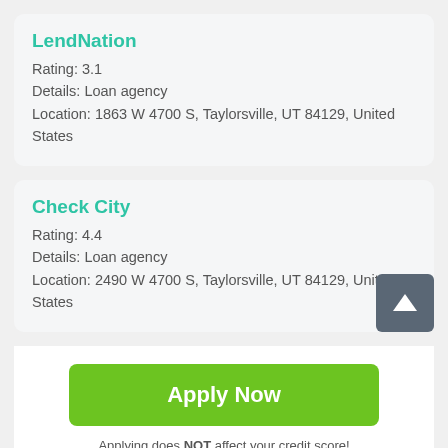LendNation
Rating: 3.1
Details: Loan agency
Location: 1863 W 4700 S, Taylorsville, UT 84129, United States
Check City
Rating: 4.4
Details: Loan agency
Location: 2490 W 4700 S, Taylorsville, UT 84129, United States
Apply Now
Applying does NOT affect your credit score! No credit check to apply.